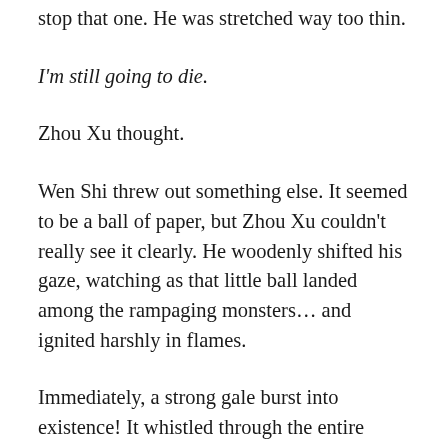stop that one. He was stretched way too thin.
I'm still going to die.
Zhou Xu thought.
Wen Shi threw out something else. It seemed to be a ball of paper, but Zhou Xu couldn't really see it clearly. He woodenly shifted his gaze, watching as that little ball landed among the rampaging monsters… and ignited harshly in flames.
Immediately, a strong gale burst into existence! It whistled through the entire corridor, the sound akin to a beast's howl.